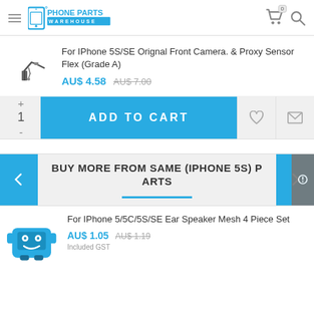Phone Parts Warehouse
For IPhone 5S/SE Orignal Front Camera. & Proxy Sensor Flex (Grade A)
AU$ 4.58  AU$ 7.00
1  +  -  ADD TO CART
BUY MORE FROM SAME (IPHONE 5S) PARTS
For IPhone 5/5C/5S/SE Ear Speaker Mesh 4 Piece Set
AU$ 1.05  AU$ 1.19  Included GST